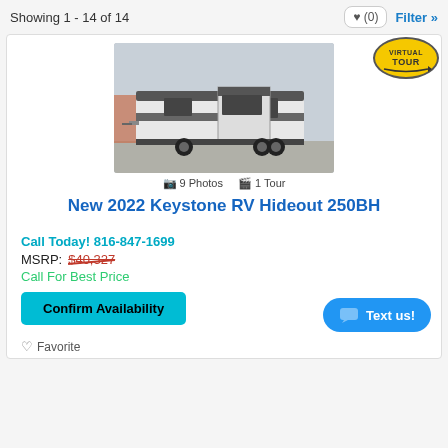Showing 1 - 14 of 14
[Figure (screenshot): Photo of a white and gray travel trailer RV (Keystone Hideout 250BH) parked in a lot with a cloudy sky background. A yellow 'Virtual Tour' badge is shown in the top-right corner.]
9 Photos  1 Tour
New 2022 Keystone RV Hideout 250BH
Call Today! 816-847-1699
MSRP: $40,327
Call For Best Price
Confirm Availability
Text us!
Favorite